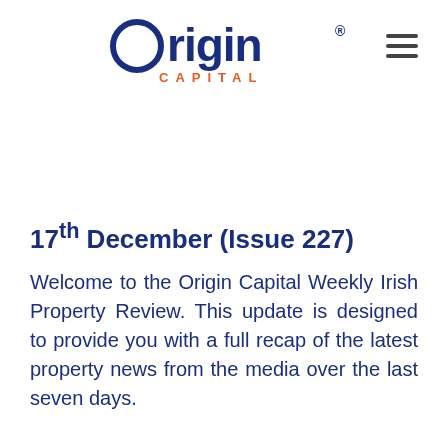[Figure (logo): Origin Capital logo with circular O, 'Origin' in large dark navy text and 'CAPITAL' in orange spaced letters below. Hamburger menu icon at top right.]
17th December (Issue 227)
Welcome to the Origin Capital Weekly Irish Property Review. This update is designed to provide you with a full recap of the latest property news from the media over the last seven days.